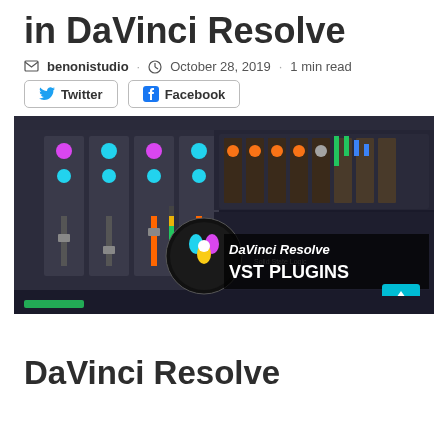in DaVinci Resolve
benonistudio · October 28, 2019 · 1 min read
Twitter
Facebook
[Figure (screenshot): Screenshot of DaVinci Resolve with VST Plugins interface showing audio mixing console and the text 'DaVinci Resolve VST PLUGINS' overlaid]
DaVinci Resolve